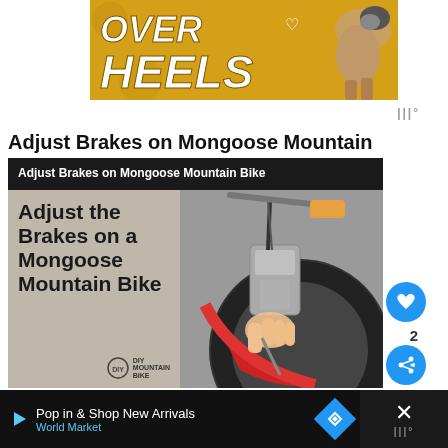[Figure (illustration): Golden/yellow advertisement banner with 'OVER HEELS' text in bold white italic letters with brown shadow, and a dog image on the right side]
Adjust Brakes on Mongoose Mountain Bike
[Figure (photo): Article card with dark header reading 'Adjust Brakes on Mongoose Mountain Bike', left panel with beige background showing article title text 'Adjust the Brakes on a Mongoose Mountain Bike' with DIY Mountain Bike logo, right panel showing a photo of hands adjusting brakes on a red mountain bike wheel]
2
[Figure (screenshot): Bottom advertisement banner with dark background showing 'Pop in & Shop New Arrivals' text, 'World Market' subtitle in blue, a blue diamond navigation icon, and a close button with X on the right]